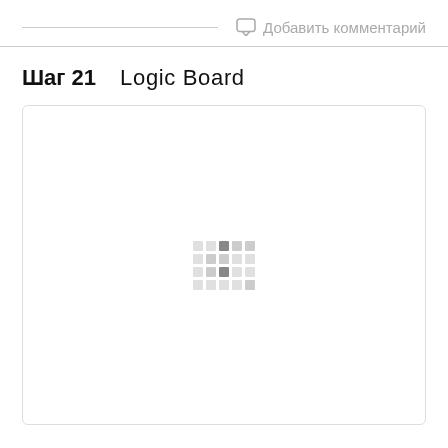Добавить комментарий
Шаг 21   Logic Board
[Figure (photo): Large image placeholder with a loading spinner (grid of dots) centered in a white rounded rectangle box. The image content (Logic Board) has not loaded.]